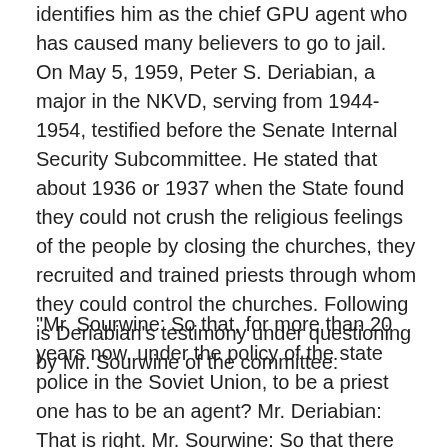identifies him as the chief GPU agent who has caused many believers to go to jail. On May 5, 1959, Peter S. Deriabian, a major in the NKVD, serving from 1944-1954, testified before the Senate Internal Security Subcommittee. He stated that about 1936 or 1937 when the State found they could not crush the religious feelings of the people by closing the churches, they recruited and trained priests through whom they could control the churches. Following is Deriabian's testimony under questioning by Mr. Sourwine of the committee:
"Mr. Sourwine: So that, for more than 20 years now, under the policy of the state police in the Soviet Union, to be a priest one has to be an agent? Mr. Deriabian: That is right. Mr. Sourwine: So that there are no priests who serve the church first -they are only agents of the state police serving as priests? Mr. Deriabian: You are right....Mr. Sourwine: In order to serve the Soviet state policy, they have to give allegiance first to the